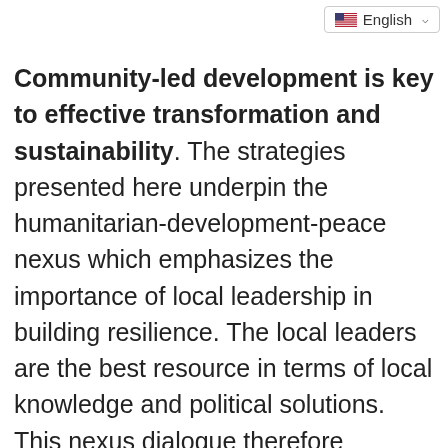English
Community-led development is key to effective transformation and sustainability. The strategies presented here underpin the humanitarian-development-peace nexus which emphasizes the importance of local leadership in building resilience. The local leaders are the best resource in terms of local knowledge and political solutions. This nexus dialogue therefore proposes a structural shift on how aid is planned, financed, coordinated, and delivered. There is no sequencing in humanitarian response, development, and building peace. They should complement each other and done side by side, with the voices of the most vulnerable people—women and children, people with disabilities, the